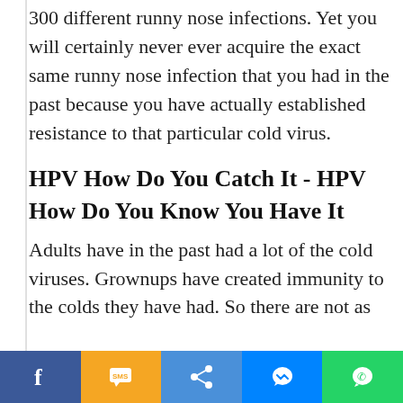300 different runny nose infections. Yet you will certainly never ever acquire the exact same runny nose infection that you had in the past because you have actually established resistance to that particular cold virus.
HPV How Do You Catch It - HPV How Do You Know You Have It
Adults have in the past had a lot of the cold viruses. Grownups have created immunity to the colds they have had. So there are not as